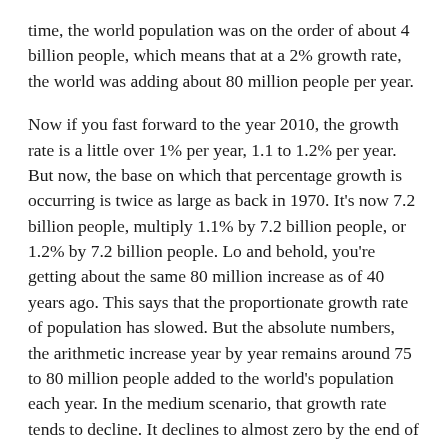time, the world population was on the order of about 4 billion people, which means that at a 2% growth rate, the world was adding about 80 million people per year.
Now if you fast forward to the year 2010, the growth rate is a little over 1% per year, 1.1 to 1.2% per year. But now, the base on which that percentage growth is occurring is twice as large as back in 1970. It's now 7.2 billion people, multiply 1.1% by 7.2 billion people, or 1.2% by 7.2 billion people. Lo and behold, you're getting about the same 80 million increase as of 40 years ago. This says that the proportionate growth rate of population has slowed. But the absolute numbers, the arithmetic increase year by year remains around 75 to 80 million people added to the world's population each year. In the medium scenario, that growth rate tends to decline. It declines to almost zero by the end of the century, because fertility rates basically come down to replacement. Replacement fertility rate means that each mother has two children, one is a daughter, one is a son. Each mother is